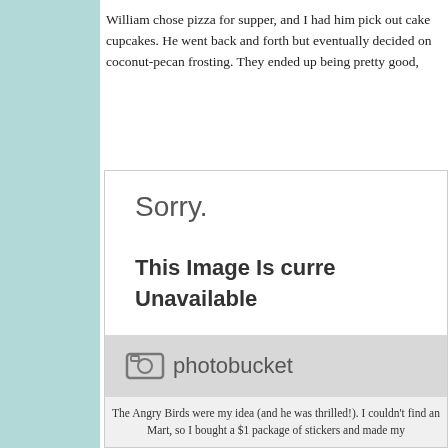William chose pizza for supper, and I had him pick out cake cupcakes. He went back and forth but eventually decided on coconut-pecan frosting. They ended up being pretty good,
[Figure (screenshot): A Photobucket image placeholder showing 'Sorry.' and 'This Image Is currently Unavailable' with the Photobucket logo at the bottom.]
The Angry Birds were my idea (and he was thrilled!). I couldn't find an Mart, so I bought a $1 package of stickers and made my